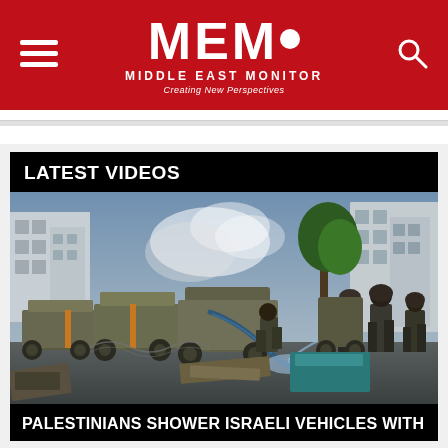MEMO MIDDLE EAST MONITOR Creating New Perspectives
LATEST VIDEOS
[Figure (photo): Israeli military vehicles and soldiers in an urban street scene, with smoke visible, during an operation in what appears to be a Palestinian city.]
PALESTINIANS SHOWER ISRAELI VEHICLES WITH